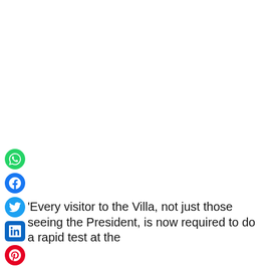[Figure (infographic): Vertical social media sharing icon bar with icons for WhatsApp (green), Facebook (blue), Twitter (light blue), LinkedIn (dark blue), Pinterest (red), Reddit (orange-red), Email (dark red envelope), and Print (dark printer icon)]
'Every visitor to the Villa, not just those seeing the President, is now required to do a rapid test at the